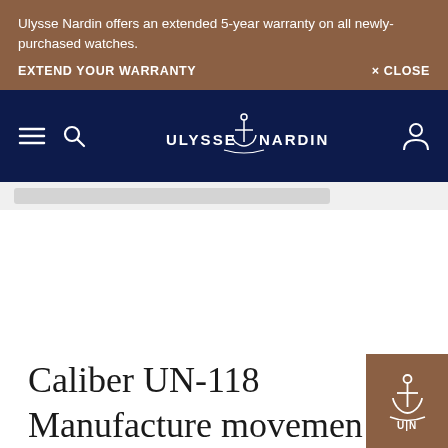Ulysse Nardin offers an extended 5-year warranty on all newly-purchased watches.
EXTEND YOUR WARRANTY
× CLOSE
[Figure (logo): Ulysse Nardin navy navigation bar with hamburger menu icon, search icon, ULYSSE NARDIN anchor logo, and user/account icon]
[Figure (screenshot): Gray search bar placeholder area]
Caliber UN-118 Manufacture movement
[Figure (logo): Brown square badge with Ulysse Nardin anchor logo and UN text at bottom right corner]